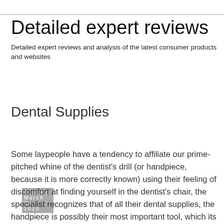Detailed expert reviews
Detailed expert reviews and analysis of the latest consumer products and websites
Sunday, March 15, 2020
Dental Supplies
Some laypeople have a tendency to affiliate our prime-pitched whine of the dentist's drill (or handpiece, because it is more correctly known) using their feeling of discomfort at finding yourself in the dentist's chair, the specialist recognizes that of all their dental supplies, the handpiece is possibly their most important tool, which its usefulness is wholly based mostly on the look, material, and excellence of the dental bur, the small cutting bit that spins within the drill body and really will the work of removing material from the